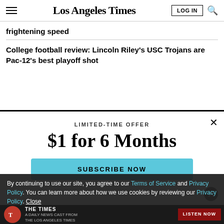Los Angeles Times
frightening speed
College football review: Lincoln Riley's USC Trojans are Pac-12's best playoff shot
LIMITED-TIME OFFER
$1 for 6 Months
SUBSCRIBE NOW
By continuing to use our site, you agree to our Terms of Service and Privacy Policy. You can learn more about how we use cookies by reviewing our Privacy Policy. Close